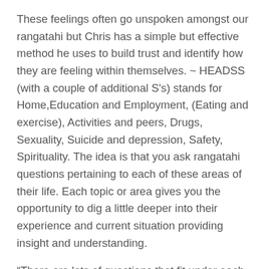These feelings often go unspoken amongst our rangatahi but Chris has a simple but effective method he uses to build trust and identify how they are feeling within themselves. ~ HEADSS (with a couple of additional S's) stands for Home,Education and Employment, (Eating and exercise), Activities and peers, Drugs, Sexuality, Suicide and depression, Safety, Spirituality. The idea is that you ask rangatahi questions pertaining to each of these areas of their life. Each topic or area gives you the opportunity to dig a little deeper into their experience and current situation providing insight and understanding.
“There are lots of questions that fit under each of these headings and it doesn’t take long to get a sense of how someone is feeling. Or which areas you might want to spend a bit more time delving into. It’s also a proven method of rapport building,” says Chris.